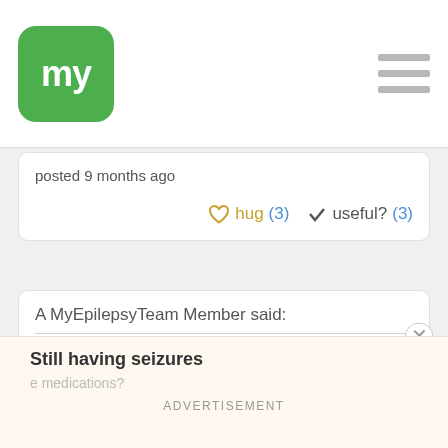[Figure (logo): MyEpilepsy Team app logo — green rounded square with white 'my' text]
posted 9 months ago
hug (3)   useful? (3)
A MyEpilepsyTeam Member said:
Yes. I was actually eventually diagnosed with "medication resistant major depressive disorder due to brain damage from epilepsy," after trying every medication on Earth and doing every test. The only thing left to try, believe it or not is a nasal spray called Spravado. It's actually Ketamine... Which is scientifically
Still having seizures
e medications?
ADVERTISEMENT